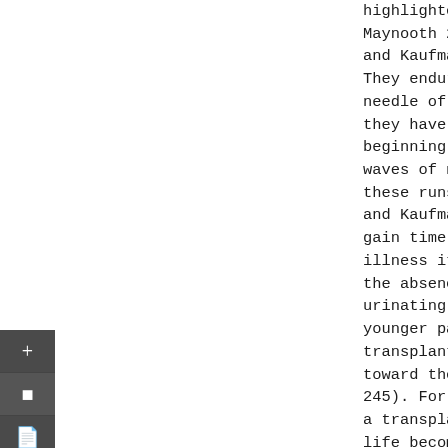highlighted by Ciara Kierans (e... Maynooth 2001), Sharon Kaufman... and Kaufman 2005), Lisa Gordon... They endure physical pain when... needle of a catheter that has b... they have fistulas - two needle... beginning of each dialysis run,... waves of nausea and cramps that... these runs. They have "to do ti... and Kaufman 2005, 305) on dialy... gain time. And, they experience... illness itself, the side effect... the absence of familiar sensati... urinating, eating and drinking... younger patients who are waitin... transplant, life is "a 'life on... toward the future" (Kierans and... 245). For elderly patients who... a transplant or do not want one... life becomes a life that is pro... treatment while at the same ti...